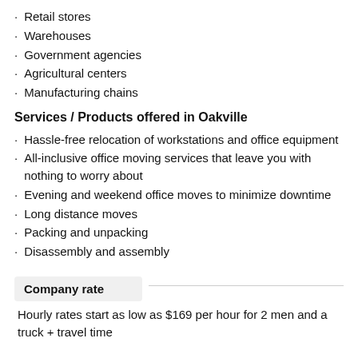Retail stores
Warehouses
Government agencies
Agricultural centers
Manufacturing chains
Services / Products offered in Oakville
Hassle-free relocation of workstations and office equipment
All-inclusive office moving services that leave you with nothing to worry about
Evening and weekend office moves to minimize downtime
Long distance moves
Packing and unpacking
Disassembly and assembly
Company rate
Hourly rates start as low as $169 per hour for 2 men and a truck + travel time